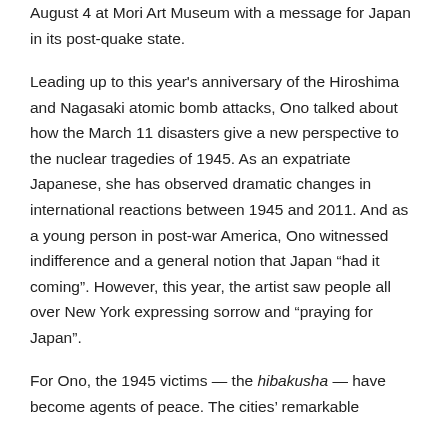August 4 at Mori Art Museum with a message for Japan in its post-quake state.
Leading up to this year's anniversary of the Hiroshima and Nagasaki atomic bomb attacks, Ono talked about how the March 11 disasters give a new perspective to the nuclear tragedies of 1945. As an expatriate Japanese, she has observed dramatic changes in international reactions between 1945 and 2011. And as a young person in post-war America, Ono witnessed indifference and a general notion that Japan “had it coming”. However, this year, the artist saw people all over New York expressing sorrow and “praying for Japan”.
For Ono, the 1945 victims — the hibakusha — have become agents of peace. The cities’ remarkable